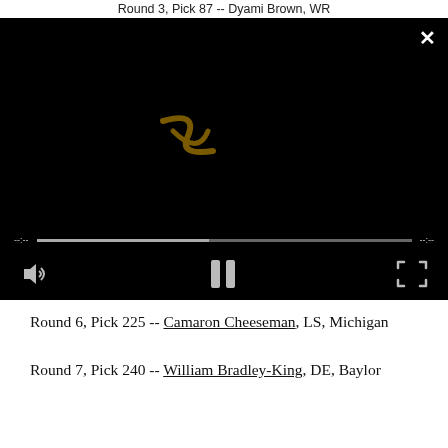Round 3, Pick 87 -- Dyami Brown, WR
[Figure (screenshot): Video player showing dark/black screen with a cursive watermark logo, a progress bar at roughly 45%, and playback controls including volume icon, pause button, and fullscreen button.]
Round 6, Pick 225 -- Camaron Cheeseman, LS, Michigan
Round 7, Pick 240 -- William Bradley-King, DE, Baylor